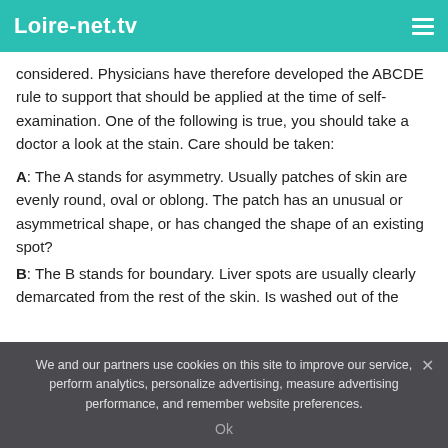Loire-net.tv
considered. Physicians have therefore developed the ABCDE rule to support that should be applied at the time of self-examination. One of the following is true, you should take a doctor a look at the stain. Care should be taken:
A: The A stands for asymmetry. Usually patches of skin are evenly round, oval or oblong. The patch has an unusual or asymmetrical shape, or has changed the shape of an existing spot?
B: The B stands for boundary. Liver spots are usually clearly demarcated from the rest of the skin. Is washed out of the
We and our partners use cookies on this site to improve our service, perform analytics, personalize advertising, measure advertising performance, and remember website preferences.